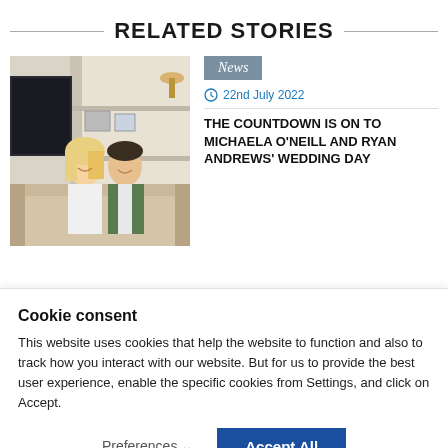RELATED STORIES
[Figure (photo): A couple sitting together on a sofa in a bright living room; woman with blonde hair in white dress, man in green jacket]
News
22nd July 2022
THE COUNTDOWN IS ON TO MICHAELA O'NEÍLL AND RYAN ANDREWS' WEDDING DAY
Cookie consent
This website uses cookies that help the website to function and also to track how you interact with our website. But for us to provide the best user experience, enable the specific cookies from Settings, and click on Accept.
Preferences ∨
Accept All